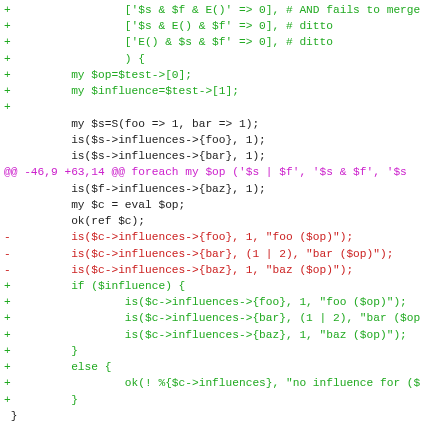[Figure (screenshot): Unified diff output showing code changes in Perl, with green lines for additions (+), red lines for deletions (-), and magenta lines for diff hunk headers (@@). The code contains test logic for operator influence evaluation.]